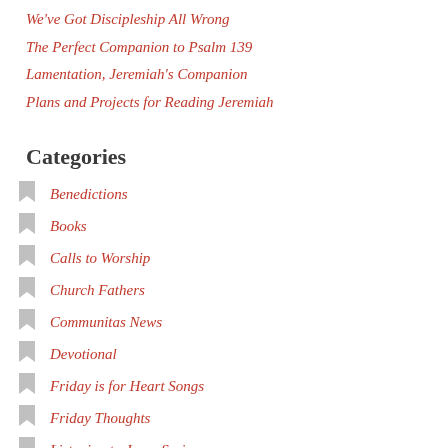We've Got Discipleship All Wrong
The Perfect Companion to Psalm 139
Lamentation, Jeremiah's Companion
Plans and Projects for Reading Jeremiah
Categories
Benedictions
Books
Calls to Worship
Church Fathers
Communitas News
Devotional
Friday is for Heart Songs
Friday Thoughts
Listening to Jesus Series
Missional Leadership
Monday Discussions